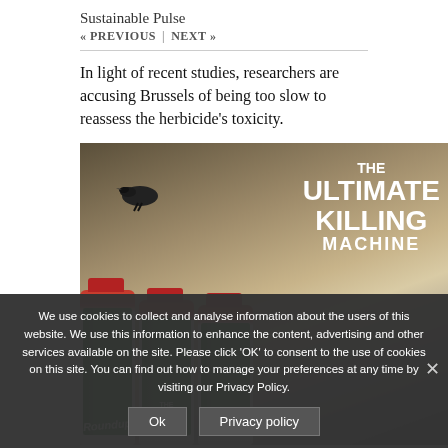Sustainable Pulse
« PREVIOUS | NEXT »
In light of recent studies, researchers are accusing Brussels of being too slow to reassess the herbicide's toxicity.
[Figure (photo): Roundup herbicide bottles with text overlay reading 'THE ULTIMATE KILLING MACHINE' against a dramatic storm sky background]
We use cookies to collect and analyse information about the users of this website. We use this information to enhance the content, advertising and other services available on the site. Please click 'OK' to consent to the use of cookies on this site. You can find out how to manage your preferences at any time by visiting our Privacy Policy.